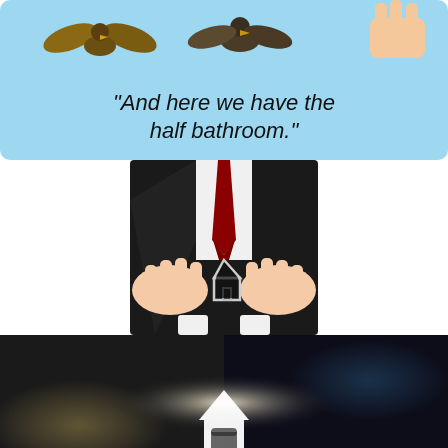[Figure (illustration): Comic/cartoon panel with light blue background showing cartoon animals (birds, insects, dog paw) and the caption text: "And here we have the half bathroom."]
[Figure (photo): Photo of a man in a black suit with a red tie, holding a small house-shaped cutout/keychain between his hands, shown from chest down, white background.]
[Figure (photo): Dark blurred/bokeh background image with a white house icon/silhouette at the bottom center, featuring glowing light effects in blue and gold tones.]